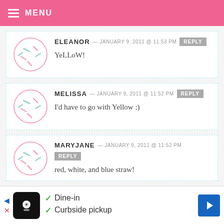MENU
ELEANOR — JANUARY 9, 2011 @ 11:53 PM REPLY
YeLLoW!
MELISSA — JANUARY 9, 2011 @ 11:52 PM REPLY
I'd have to go with Yellow :)
MARYJANE — JANUARY 9, 2011 @ 11:52 PM REPLY
red, white, and blue straw!
Dine-in
Curbside pickup